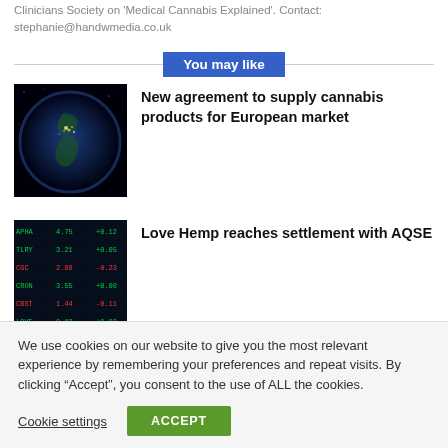Clinicians Society on 'Medical Cannabis Explained'. Contact: stephanie@handwmedia.co.uk
You may like
[Figure (photo): Satellite view of Earth from space showing city lights at night, focused on Europe]
New agreement to supply cannabis products for European market
[Figure (photo): Stock market ticker board with green and red numbers on dark background]
Love Hemp reaches settlement with AQSE
We use cookies on our website to give you the most relevant experience by remembering your preferences and repeat visits. By clicking “Accept”, you consent to the use of ALL the cookies.
Cookie settings
ACCEPT